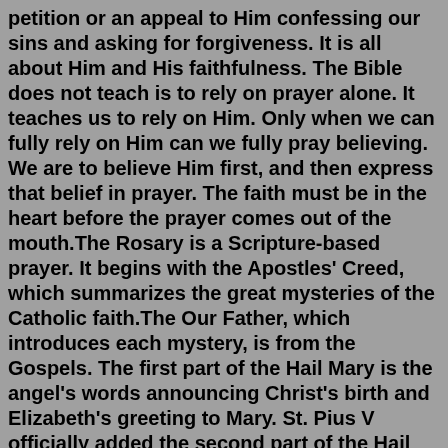petition or an appeal to Him confessing our sins and asking for forgiveness. It is all about Him and His faithfulness. The Bible does not teach is to rely on prayer alone. It teaches us to rely on Him. Only when we can fully rely on Him can we fully pray believing. We are to believe Him first, and then express that belief in prayer. The faith must be in the heart before the prayer comes out of the mouth.The Rosary is a Scripture-based prayer. It begins with the Apostles' Creed, which summarizes the great mysteries of the Catholic faith.The Our Father, which introduces each mystery, is from the Gospels. The first part of the Hail Mary is the angel's words announcing Christ's birth and Elizabeth's greeting to Mary. St. Pius V officially added the second part of the Hail Mary.Where did the creative team blog posts go? April 18, 2020; Bible Journaling - A Must! | Wisdom Vision | James 1:5 January 29, 2020 Hybrid Mixed Media Traveler's Notebook Journaling | Worshipping in the Storm January 28, 2020 Print and Pray Traveler's Notebook Journaling | Journaling January 27, 2020 You the...